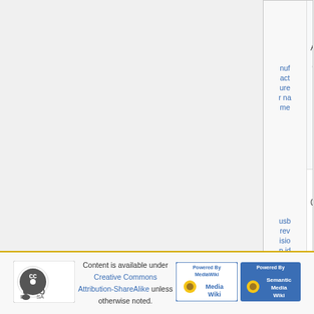|  |  |
| --- | --- |
| manufacturer name | AVM +🔍 |
| usb revision id | 0x0200 +🔍 |
| usb rndis mac | 00:1C:4A:* +🔍 |
| wlan key | 1234567890123456 +🔍 |
Content is available under Creative Commons Attribution-ShareAlike unless otherwise noted.